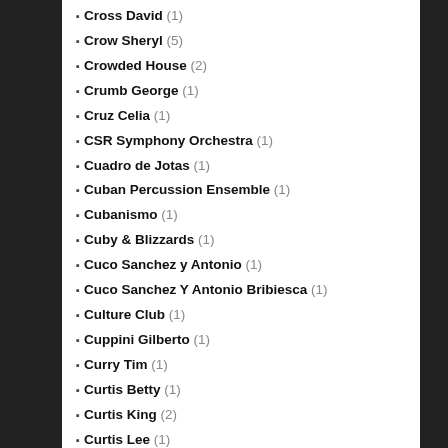Cross David (1)
Crow Sheryl (5)
Crowded House (2)
Crumb George (1)
Cruz Celia (1)
CSR Symphony Orchestra (1)
Cuadro de Jotas (1)
Cuban Percussion Ensemble (1)
Cubanismo (1)
Cuby & Blizzards (1)
Cuco Sanchez y Antonio (1)
Cuco Sanchez Y Antonio Bribiesca (1)
Culture Club (1)
Cuppini Gilberto (1)
Curry Tim (1)
Curtis Betty (1)
Curtis King (2)
Curtis Lee (1)
Curved Air (4)
Custard (1)
Cwrt-Y-Gollen Band (1)
Czech Philharmonic Orchestra (1)